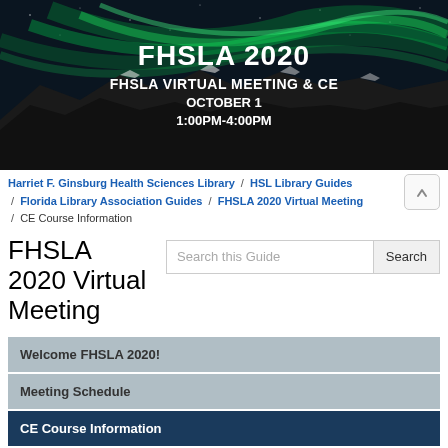[Figure (illustration): FHSLA 2020 banner with aurora borealis / northern lights background over dark mountains. White bold text reads 'FHSLA 2020', 'FHSLA VIRTUAL MEETING & CE', 'OCTOBER 1', '1:00PM-4:00PM']
Harriet F. Ginsburg Health Sciences Library / HSL Library Guides / Florida Library Association Guides / FHSLA 2020 Virtual Meeting / CE Course Information
FHSLA 2020 Virtual Meeting
Welcome FHSLA 2020!
Meeting Schedule
CE Course Information